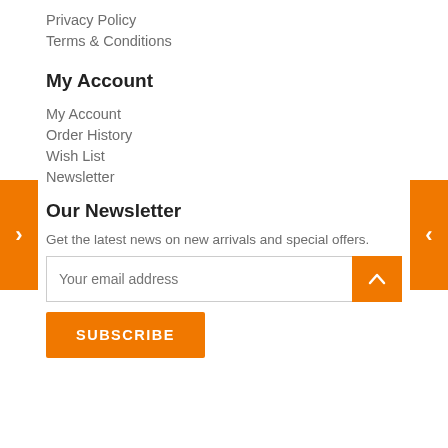Privacy Policy
Terms & Conditions
My Account
My Account
Order History
Wish List
Newsletter
Our Newsletter
Get the latest news on new arrivals and special offers.
Your email address
SUBSCRIBE